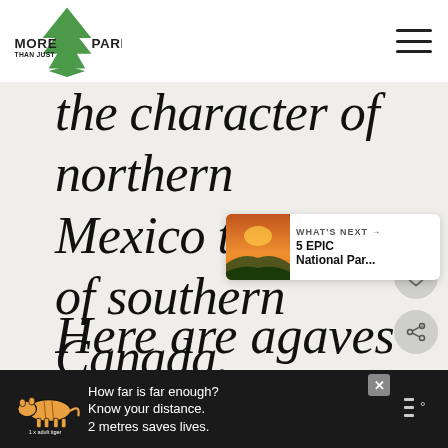[Figure (logo): More Than Just Parks logo — green arrowhead/tree icon with text MORE THAN JUST PARKS]
the character of northern Mexico to that of southern Canada.
Here are agaves and
[Figure (infographic): WHAT'S NEXT widget showing a thumbnail of a scenic landscape with text '5 EPIC National Par...']
How far is far enough? Know your distance. 2 metres saves lives.